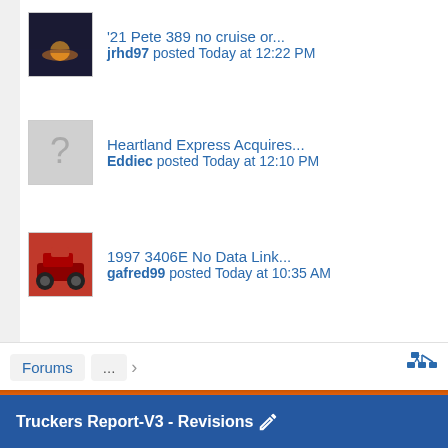'21 Pete 389 no cruise or... jrhd97 posted Today at 12:22 PM
Heartland Express Acquires... Eddiec posted Today at 12:10 PM
1997 3406E No Data Link... gafred99 posted Today at 10:35 AM
Forums ...
Truckers Report-V3 - Revisions
Contact Us   Help   Terms and Rules   Privacy
ABOUT US
TRUCKER NEWS
LIBRARY